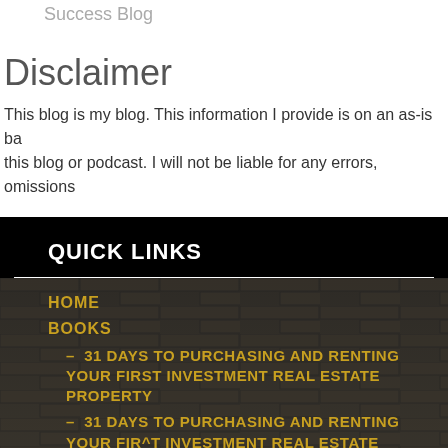Success Blog
Disclaimer
This blog is my blog. This information I provide is on an as-is ba this blog or podcast. I will not be liable for any errors, omissions
QUICK LINKS
HOME
BOOKS
– 31 DAYS TO PURCHASING AND RENTING YOUR FIRST INVESTMENT REAL ESTATE PROPERTY
– 31 DAYS TO PURCHASING AND RENTING YOUR FIRST INVESTMENT REAL ESTATE PROPERTY WORKBOOK